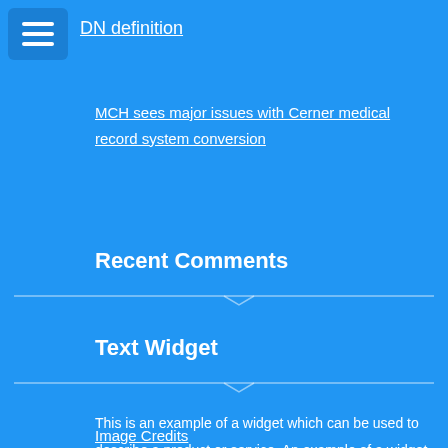[Figure (other): Hamburger menu icon button with three white horizontal lines on a darker blue background]
DN definition
MCH sees major issues with Cerner medical record system conversion
Recent Comments
Text Widget
This is an example of a widget which can be used to describe a product or service. An example of a widget which can be used to describe a product or service. This is an example of a widget.
Image Credits